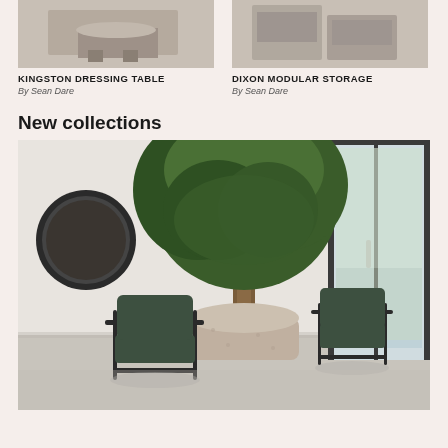[Figure (photo): Top portion of Kingston Dressing Table product photo (cropped at top)]
[Figure (photo): Top portion of Dixon Modular Storage product photo (cropped at top)]
KINGSTON DRESSING TABLE
By Sean Dare
DIXON MODULAR STORAGE
By Sean Dare
New collections
[Figure (photo): Interior room scene with two dark green leather armchairs with black metal frames, a large potted tree in a textured pot, a round dark mirror on the white wall, and a large glass sliding door opening to a bright exterior. The floor is polished concrete.]